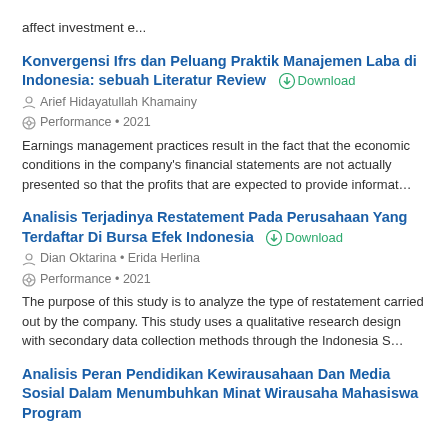affect investment e…
Konvergensi Ifrs dan Peluang Praktik Manajemen Laba di Indonesia: sebuah Literatur Review
Arief Hidayatullah Khamainy
Performance • 2021
Earnings management practices result in the fact that the economic conditions in the company's financial statements are not actually presented so that the profits that are expected to provide informat…
Analisis Terjadinya Restatement Pada Perusahaan Yang Terdaftar Di Bursa Efek Indonesia
Dian Oktarina • Erida Herlina
Performance • 2021
The purpose of this study is to analyze the type of restatement carried out by the company. This study uses a qualitative research design with secondary data collection methods through the Indonesia S…
Analisis Peran Pendidikan Kewirausahaan Dan Media Sosial Dalam Menumbuhkan Minat Wirausaha Mahasiswa Program